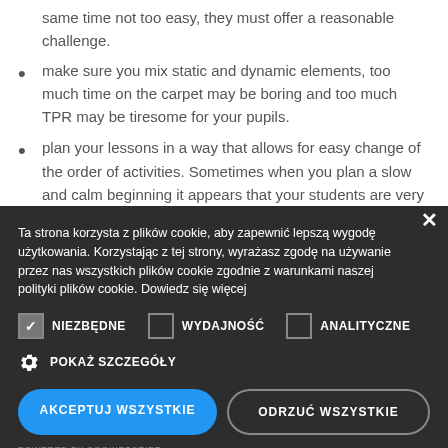same time not too easy, they must offer a reasonable challenge.
make sure you mix static and dynamic elements, too much time on the carpet may be boring and too much TPR may be tiresome for your pupils.
plan your lessons in a way that allows for easy change of the order of activities. Sometimes when you plan a slow and calm beginning it appears that your students are very excited and active and then it is
Ta strona korzysta z plików cookie, aby zapewnić lepszą wygodę użytkowania. Korzystając z tej strony, wyrażasz zgodę na używanie przez nas wszystkich plików cookie zgodnie z warunkami naszej polityki plików cookie. Dowiedz się więcej
NIEZBĘDNE  WYDAJNOŚĆ  ANALITYCZNE
POKAŻ SZCZEGÓŁY
AKCEPTUJ WSZYSTKIE
ODRZUĆ WSZYSTKIE
POWERED BY COOKIESCRIPT